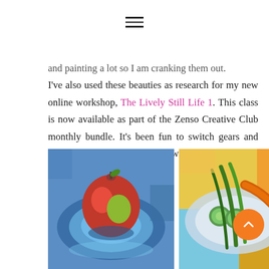≡
and painting a lot so I am cranking them out. I've also used these beauties as research for my new online workshop, The Lively Still Life 1. This class is now available as part of the Zenso Creative Club monthly bundle. It's been fun to switch gears and subject matter and experiment with composition and color.
[Figure (photo): Colorful painted still life of a red apple on a blue plate]
[Figure (photo): Colorful painted still life of vegetables including carrots and green beans on a plate]